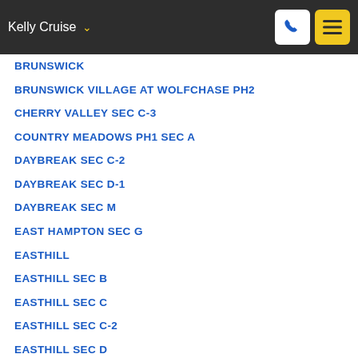Kelly Cruise
BRUNSWICK
BRUNSWICK VILLAGE AT WOLFCHASE PH2
CHERRY VALLEY SEC C-3
COUNTRY MEADOWS PH1 SEC A
DAYBREAK SEC C-2
DAYBREAK SEC D-1
DAYBREAK SEC M
EAST HAMPTON SEC G
EASTHILL
EASTHILL SEC B
EASTHILL SEC C
EASTHILL SEC C-2
EASTHILL SEC D
EASTHILL SEC E
ELMORE PARK MEADOWS BLK B
FLETCHER HOLLOW
FORRESTWOOD
GARDENS OF BARTLETT DOWNS
GRAY